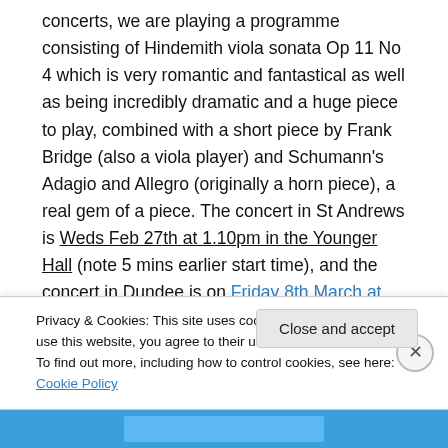concerts, we are playing a programme consisting of Hindemith viola sonata Op 11 No 4 which is very romantic and fantastical as well as being incredibly dramatic and a huge piece to play, combined with a short piece by Frank Bridge (also a viola player) and Schumann's Adagio and Allegro (originally a horn piece), a real gem of a piece. The concert in St Andrews is Weds Feb 27th at 1.10pm in the Younger Hall (note 5 mins earlier start time), and the concert in Dundee is on Friday 8th March at 1.20pm in the University Chaplaincy
Privacy & Cookies: This site uses cookies. By continuing to use this website, you agree to their use. To find out more, including how to control cookies, see here: Cookie Policy
Close and accept